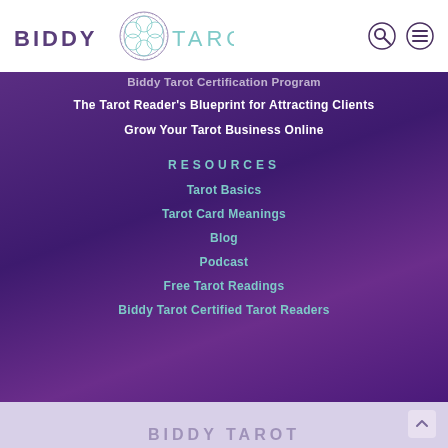[Figure (logo): Biddy Tarot logo with circular geometric mandala design between BIDDY and TAROT. text]
Biddy Tarot Certification Program
The Tarot Reader's Blueprint for Attracting Clients
Grow Your Tarot Business Online
RESOURCES
Tarot Basics
Tarot Card Meanings
Blog
Podcast
Free Tarot Readings
Biddy Tarot Certified Tarot Readers
BIDDY TAROT